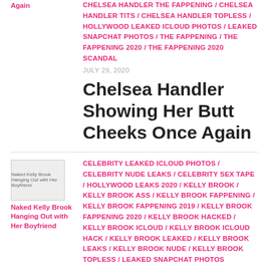Again
CHELSEA HANDLER THE FAPPENING / CHELSEA HANDLER TITS / CHELSEA HANDLER TOPLESS / HOLLYWOOD LEAKED ICLOUD PHOTOS / LEAKED SNAPCHAT PHOTOS / THE FAPPENING / THE FAPPENING 2020 / THE FAPPENING 2020 SCANDAL
JULY 29, 2020
Chelsea Handler Showing Her Butt Cheeks Once Again
[Figure (photo): Naked Kelly Brook Hanging Out with Her Boyfriend thumbnail image]
Naked Kelly Brook Hanging Out with Her Boyfriend
CELEBRITY LEAKED ICLOUD PHOTOS / CELEBRITY NUDE LEAKS / CELEBRITY SEX TAPE / HOLLYWOOD LEAKS 2020 / KELLY BROOK / KELLY BROOK ASS / KELLY BROOK FAPPENING / KELLY BROOK FAPPENING 2019 / KELLY BROOK FAPPENING 2020 / KELLY BROOK HACKED / KELLY BROOK ICLOUD / KELLY BROOK ICLOUD HACK / KELLY BROOK LEAKED / KELLY BROOK LEAKS / KELLY BROOK NUDE / KELLY BROOK TOPLESS / LEAKED SNAPCHAT PHOTOS